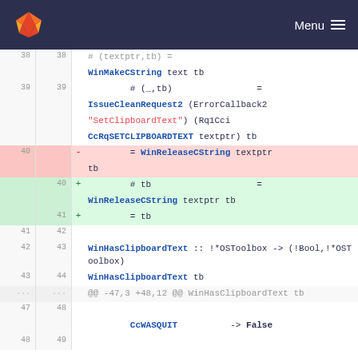GitLab Menu
[Figure (screenshot): Code diff view showing changes to clipboard-related Haskell/functional code. Lines 38-49 shown with line numbers, deletions highlighted in red, additions highlighted in green.]